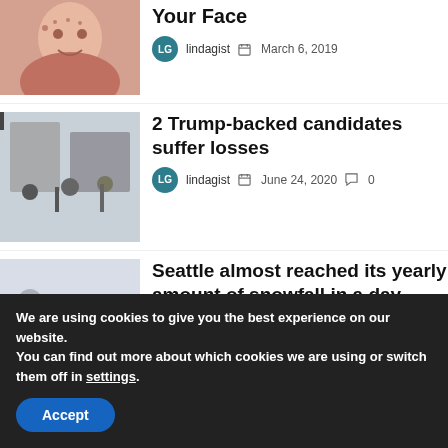[Figure (photo): Smiling woman with freckles touching her face]
Your Face
lindagist  March 6, 2019
[Figure (photo): People standing outside a building with masks on]
2 Trump-backed candidates suffer losses
lindagist  June 24, 2020  0
[Figure (photo): People walking in heavy snowfall]
Seattle almost reached its yearly amount of snowfall in a day
We are using cookies to give you the best experience on our website.
You can find out more about which cookies we are using or switch them off in settings.